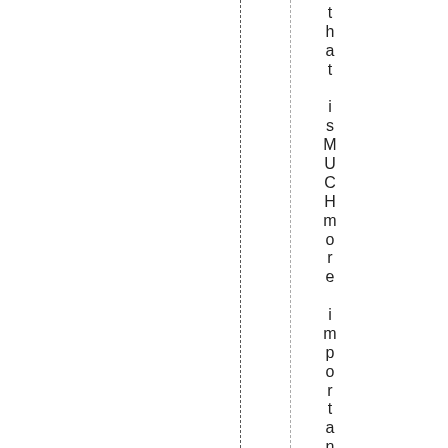that is MUCH more important than spe